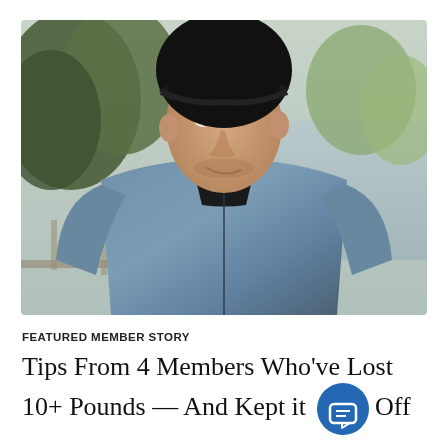[Figure (photo): A middle-aged man wearing a black beanie hat and a blue-grey zip-up athletic fleece jacket, photographed outdoors with trees and water visible in the background. He appears to be smiling slightly and looking to the side.]
FEATURED MEMBER STORY
Tips From 4 Members Who've Lost 10+ Pounds — And Kept it Off
Have a weight-loss goal? Hear the advice of these Life Time members who've all had